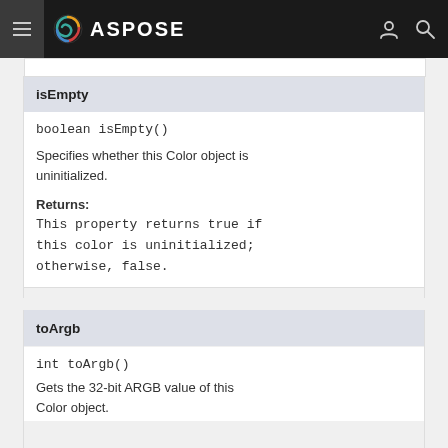ASPOSE
isEmpty
boolean isEmpty()
Specifies whether this Color object is uninitialized.
Returns:
This property returns true if this color is uninitialized; otherwise, false.
toArgb
int toArgb()
Gets the 32-bit ARGB value of this Color object.